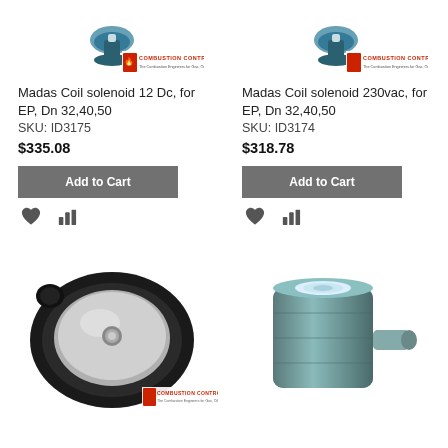[Figure (photo): Madas Coil solenoid 12 Dc product image with Combustion Control Ltd logo]
[Figure (photo): Madas Coil solenoid 230vac product image with Combustion Control Ltd logo]
Madas Coil solenoid 12 Dc, for EP, Dn 32,40,50
Madas Coil solenoid 230vac, for EP, Dn 32,40,50
SKU: ID3175
SKU: ID3174
$335.08
$318.78
Add to Cart
Add to Cart
[Figure (photo): Black rubber diaphragm/disc component product image with Combustion Control Ltd logo]
[Figure (photo): Metal cylindrical solenoid coil component product image]